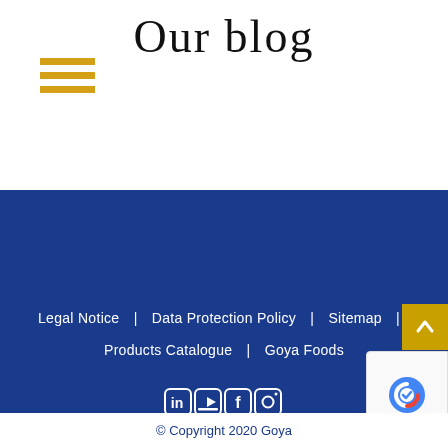Our blog
[Figure (other): Hamburger menu icon with three yellow horizontal lines]
Legal Notice | Data Protection Policy | Sitemap | Products Catalogue | Goya Foods
[Figure (other): Social media icons: LinkedIn, YouTube, Facebook, Instagram]
[Figure (other): Scroll to top yellow button with upward arrow]
[Figure (other): reCAPTCHA Privacy - Terms badge]
© Copyright 2020 Goya